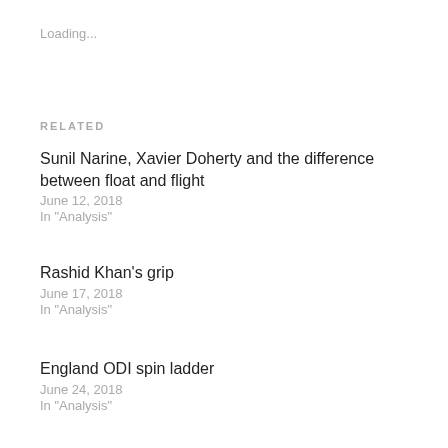Loading...
RELATED
Sunil Narine, Xavier Doherty and the difference between float and flight
June 12, 2018
In "Analysis"
Rashid Khan's grip
June 17, 2018
In "Analysis"
England ODI spin ladder
June 24, 2018
In "Analysis"